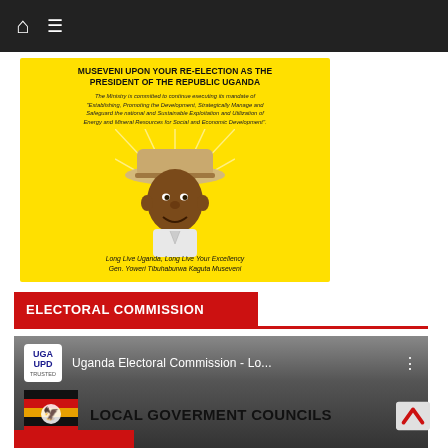Navigation bar with home and menu icons
[Figure (photo): Yellow promotional banner with text 'MUSEVENI UPON YOUR RE-ELECTION AS THE PRESIDENT OF THE REPUBLIC UGANDA', ministry mandate text, photo of Gen. Yoweri Tibuhaburwa Kaguta Museveni in a white hat and shirt, with caption 'Long Live Uganda, Long Live Your Excellency Gen. Yoweri Tibuhaburwa Kaguta Museveni']
ELECTORAL COMMISSION
[Figure (screenshot): YouTube-style video thumbnail showing Uganda Electoral Commission logo (UGA UPD TRUSTED), title 'Uganda Electoral Commission - Lo...', Uganda flag, and text 'LOCAL GOVERMENT COUNCILS']